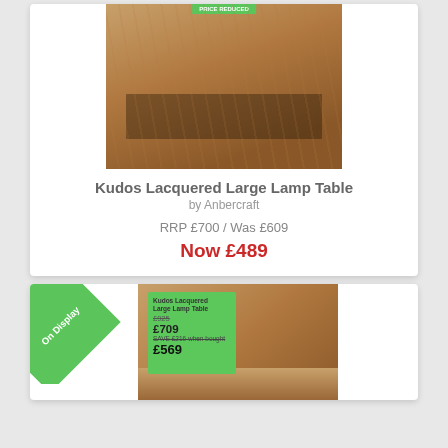[Figure (photo): Photo of Kudos Lacquered Large Lamp Table, a wooden side table with glass shelf, viewed from above at an angle, with a green price tag on top]
Kudos Lacquered Large Lamp Table
by Anbercraft
RRP £700 / Was £609
Now £489
[Figure (photo): Photo of a second Kudos Lacquered lamp table on display, with an 'On Display' green corner badge, and a green price sign showing Was £925, £709, Now £569]
On Display